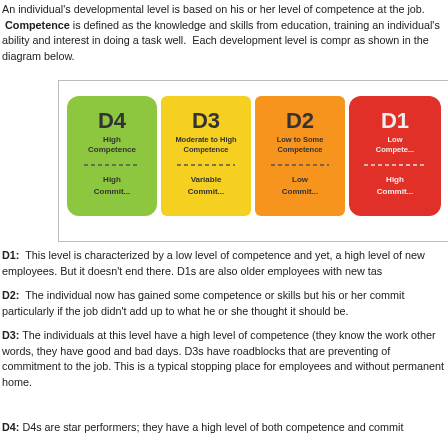An individual's developmental level is based on his or her level of competence at the job. Competence is defined as the knowledge and skills from education, training and individual's ability and interest in doing a task well. Each development level is comprised as shown in the diagram below.
[Figure (infographic): Diagram showing four development levels D4 (High Competence, High Commitment - green), D3 (Moderate to High Competence, Variable Commitment - yellow), D2 (Low to Some Competence, Low Commitment - orange), D1 (Low Competence, High Commitment - red), arranged left to right as arrow-shaped blocks.]
D1: This level is characterized by a low level of competence and yet, a high level of new employees. But it doesn't end there. D1s are also older employees with new tasks.
D2: The individual now has gained some competence or skills but his or her commitment particularly if the job didn't add up to what he or she thought it should be.
D3: The individuals at this level have a high level of competence (they know the work) other words, they have good and bad days. D3s have roadblocks that are preventing of commitment to the job. This is a typical stopping place for employees and without permanent home.
D4: D4s are star performers; they have a high level of both competence and commitment.